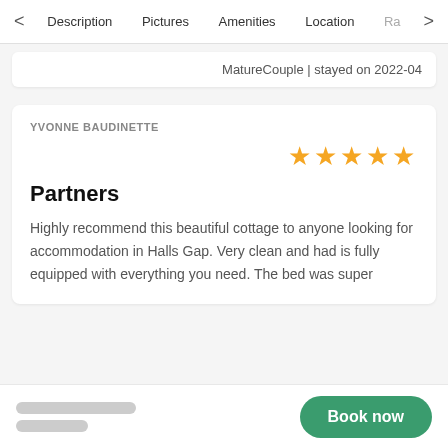< Description  Pictures  Amenities  Location  Ra >
MatureCouple | stayed on 2022-04
YVONNE BAUDINETTE
[Figure (other): 5 gold stars rating]
Partners
Highly recommend this beautiful cottage to anyone looking for accommodation in Halls Gap. Very clean and had is fully equipped with everything you need. The bed was super